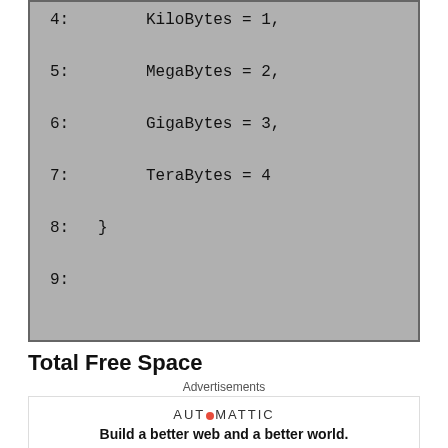[Figure (screenshot): Code block showing lines 4-9 of an enumeration. Line 4: KiloBytes = 1, Line 5: MegaBytes = 2, Line 6: GigaBytes = 3, Line 7: TeraBytes = 4, Line 8: }, Line 9: (empty)]
Total Free Space
Advertisements
[Figure (infographic): Automattic advertisement: Build a better web and a better world.]
REPORT THIS AD
The TotalFreeSpaceFormatted extension method